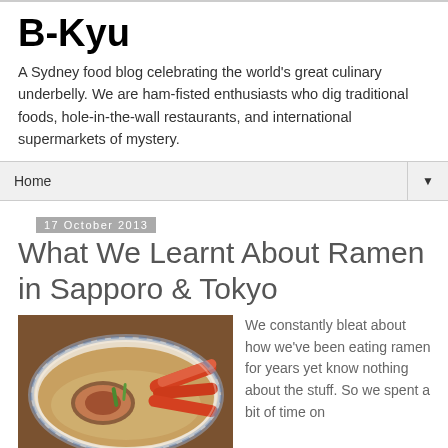B-Kyu
A Sydney food blog celebrating the world's great culinary underbelly. We are ham-fisted enthusiasts who dig traditional foods, hole-in-the-wall restaurants, and international supermarkets of mystery.
Home
17 October 2013
What We Learnt About Ramen in Sapporo & Tokyo
[Figure (photo): Bowl of ramen with crab legs and pork, in a blue and white ceramic bowl]
We constantly bleat about how we've been eating ramen for years yet know nothing about the stuff. So we spent a bit of time on